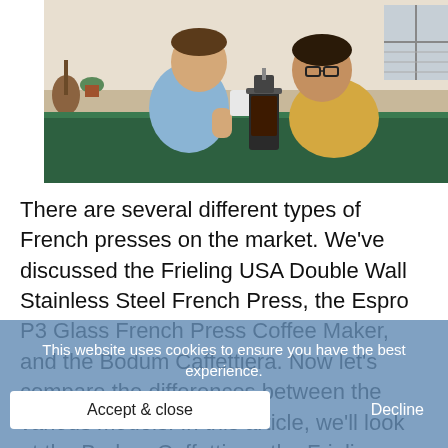[Figure (photo): Two young men sitting at a table with a French press coffee maker between them, both holding mugs. Interior setting with guitar and plants visible in background.]
There are several different types of French presses on the market. We've discussed the Frieling USA Double Wall Stainless Steel French Press, the Espro P3 Glass French Press Coffee Maker, and the Bodum Caffettiera. Now let's compare the differences between the various models. In this article, we'll look at the Bodum Caffettiera, the Frieling USA Double Wall Stainless Steel French Press, and the World Market's Stone [Brushed Silver French Press].
This website uses cookies to ensure you have the best experience.
Accept & close
Decline